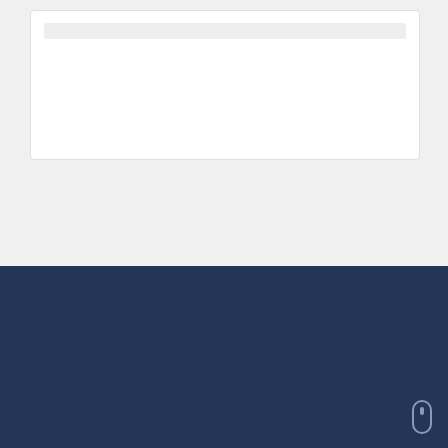[Figure (screenshot): White card UI element with a light gray bar at top, set on a light gray background]
Recent Post
[Figure (photo): Thumbnail photo of a person with app icons overlay on dark blue background]
Introduce Wavebox to your Team using Templates.
By Susan Davies